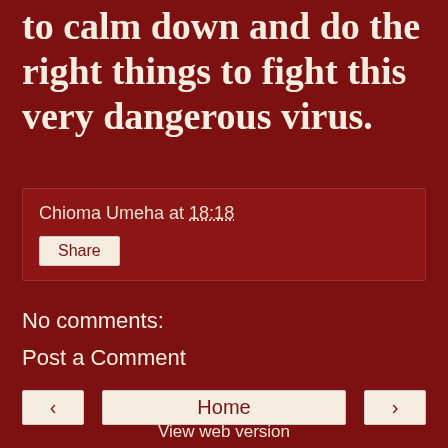to calm down and do the right things to fight this very dangerous virus.
Chioma Umeha at 18:18
Share
No comments:
Post a Comment
< Home >
View web version